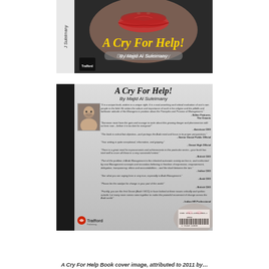[Figure (photo): Front cover of book 'A Cry For Help!' by Majid Al Suleimany, showing a woman's lips/face in dark tones with gold italic title text and author name. Published by Trafford.]
[Figure (photo): Back cover of book 'A Cry For Help!' by Majid Al Suleimany, showing the book's back cover with author photo, multiple endorsement quotes from various CEOs and officials, barcode, and Trafford publisher logo.]
A Cry For Help Book cover image, attributed to 2011 by...